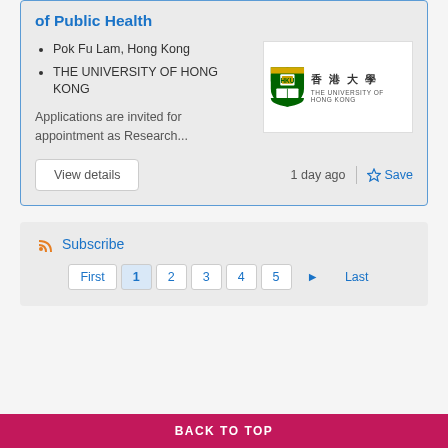of Public Health
Pok Fu Lam, Hong Kong
THE UNIVERSITY OF HONG KONG
[Figure (logo): The University of Hong Kong logo with shield and Chinese/English text]
Applications are invited for appointment as Research...
View details
1 day ago
Save
Subscribe
First 1 2 3 4 5 ▶ Last